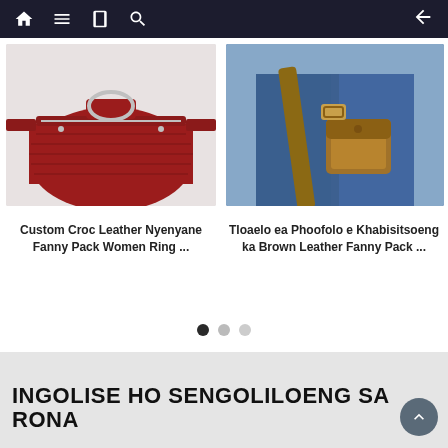[Figure (screenshot): Navigation bar with home, menu, book, search icons on dark background and back arrow on right]
[Figure (photo): Red crocodile leather fanny pack with silver D-ring hardware on light gray background]
[Figure (photo): Brown leather fanny pack worn on a person in denim jacket, lifestyle photo]
Custom Croc Leather Nyenyane Fanny Pack Women Ring ...
Tloaelo ea Phoofolo e Khabisitsoeng ka Brown Leather Fanny Pack ...
[Figure (infographic): Pagination dots: first dot filled/active, second and third dots inactive gray]
INGOLISE HO SENGOLILOENG SA RONA